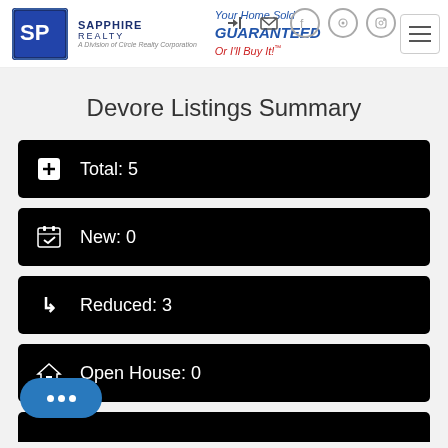Sapphire Realty – Your Home Sold GUARANTEED Or I'll Buy It!
Devore Listings Summary
Total: 5
New: 0
Reduced: 3
Open House: 0